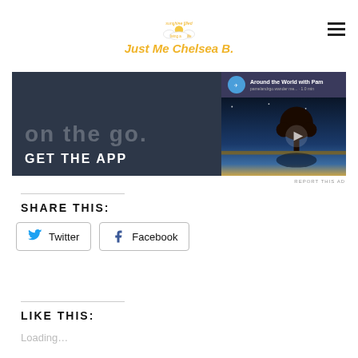[Figure (logo): Just Me Chelsea B. blog logo with sunshine and cloud illustration, golden/yellow text]
[Figure (screenshot): Advertisement banner showing 'GET THE APP' with dark background on left and travel video thumbnail on right labeled 'Around the World with Pam']
REPORT THIS AD
SHARE THIS:
Twitter
Facebook
LIKE THIS:
Loading…